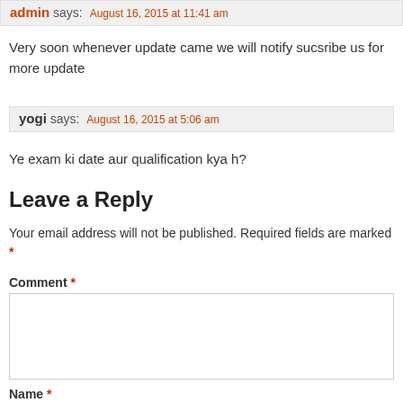admin says: August 16, 2015 at 11:41 am
Very soon whenever update came we will notify sucsribe us for more update
yogi says: August 16, 2015 at 5:06 am
Ye exam ki date aur qualification kya h?
Leave a Reply
Your email address will not be published. Required fields are marked *
Comment *
Name *